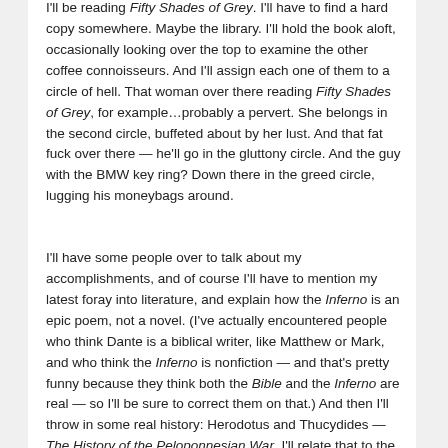I'll be reading Fifty Shades of Grey. I'll have to find a hard copy somewhere. Maybe the library. I'll hold the book aloft, occasionally looking over the top to examine the other coffee connoisseurs. And I'll assign each one of them to a circle of hell. That woman over there reading Fifty Shades of Grey, for example…probably a pervert. She belongs in the second circle, buffeted about by her lust. And that fat fuck over there — he'll go in the gluttony circle. And the guy with the BMW key ring? Down there in the greed circle, lugging his moneybags around.
I'll have some people over to talk about my accomplishments, and of course I'll have to mention my latest foray into literature, and explain how the Inferno is an epic poem, not a novel. (I've actually encountered people who think Dante is a biblical writer, like Matthew or Mark, and who think the Inferno is nonfiction — and that's pretty funny because they think both the Bible and the Inferno are real — so I'll be sure to correct them on that.) And then I'll throw in some real history: Herodotus and Thucydides — The History of the Peloponnesian War. I'll relate that to the film (not movie) 300, since that story…